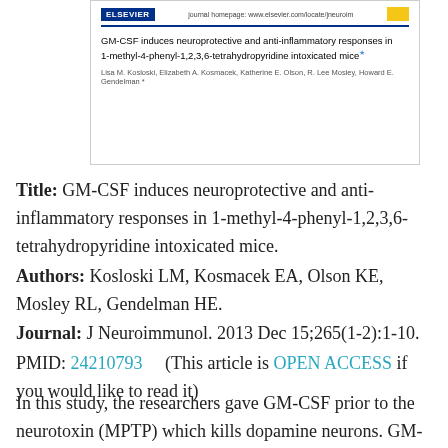[Figure (screenshot): Screenshot of an Elsevier journal article header showing the title 'GM-CSF induces neuroprotective and anti-inflammatory responses in 1-methyl-4-phenyl-1,2,3,6-tetrahydropyridine intoxicated mice' and authors Lisa M. Kosloski, Elizabeth A. Kosmacek, Katherine E. Olson, R. Lee Mosley, Howard E. Gendelman]
Title: GM-CSF induces neuroprotective and anti-inflammatory responses in 1-methyl-4-phenyl-1,2,3,6-tetrahydropyridine intoxicated mice.
Authors: Kosloski LM, Kosmacek EA, Olson KE, Mosley RL, Gendelman HE.
Journal: J Neuroimmunol. 2013 Dec 15;265(1-2):1-10.
PMID: 24210793   (This article is OPEN ACCESS if you would like to read it)
In this study, the researchers gave GM-CSF prior to the neurotoxin (MPTP) which kills dopamine neurons. GM-CSF freely cross the blood-brain